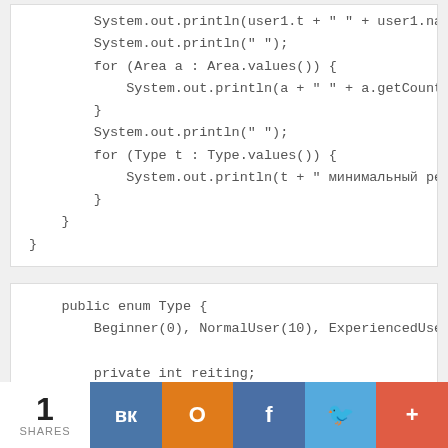Code block 1: System.out.println, for loops with Area.values() and Type.values()
Code block 2: public enum Type { Beginner(0), NormalUser(10), ExperiencedUser(20); private int reiting; }
1 SHARES | VK | OK | f | Twitter | +